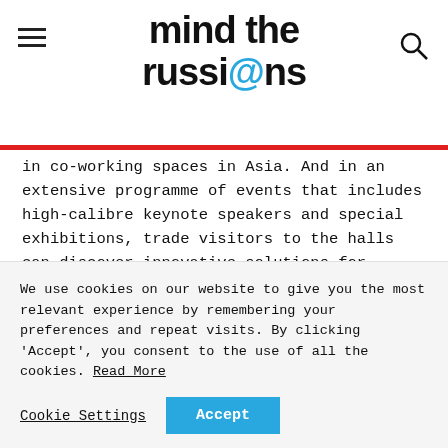mind the russi@ns
in co-working spaces in Asia. And in an extensive programme of events that includes high-calibre keynote speakers and special exhibitions, trade visitors to the halls can discover innovative solutions for tomorrow’s workplace design.
One of the main speakers at ORGATEC TOKYO is architect Sou Fujimoto, renowned worldwide for his building design based on human behaviour. He is one of the many prominent figures and
We use cookies on our website to give you the most relevant experience by remembering your preferences and repeat visits. By clicking ‘Accept’, you consent to the use of all the cookies. Read More
Cookie Settings | Accept